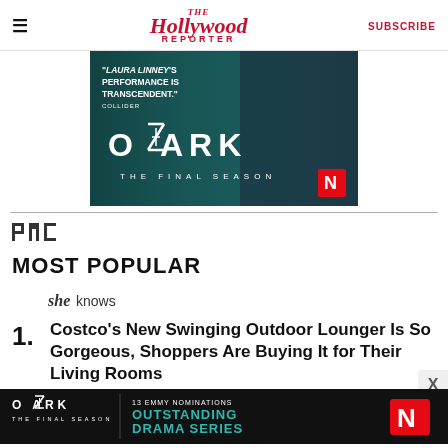The Hollywood Reporter | SUBSCRIBE
[Figure (photo): Ozark The Final Season Netflix advertisement with Laura Linney quote: 'LAURA LINNEY'S PERFORMANCE IS TRANSCENDENT.' - COLLIDER]
[Figure (logo): PMC logo]
MOST POPULAR
[Figure (logo): SheKnows logo]
1. Costco's New Swinging Outdoor Lounger Is So Gorgeous, Shoppers Are Buying It for Their Living Rooms
[Figure (photo): Ozark The Final Season Netflix advertisement - 13 EMMY NOMINATIONS OUTSTANDING DRAMA SERIES]